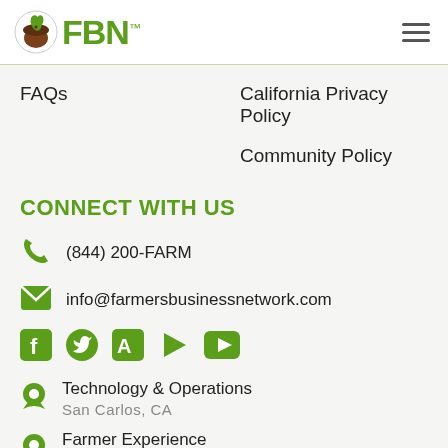[Figure (logo): FBN (Farmers Business Network) logo with green acorn/leaf icon and green FBN text]
FAQs
California Privacy Policy
Community Policy
CONNECT WITH US
(844) 200-FARM
info@farmersbusinessnetwork.com
[Figure (illustration): Social media icons: Facebook, Twitter, App Store, Google Play, YouTube — all in green]
Technology & Operations
San Carlos, CA
Farmer Experience